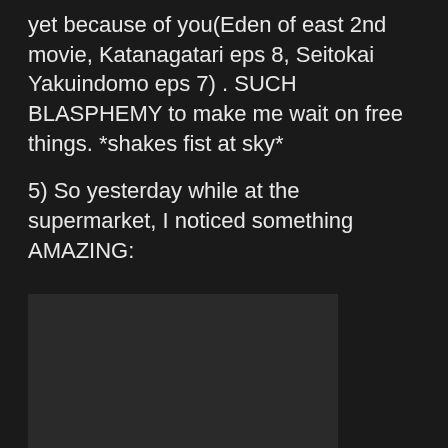yet because of you(Eden of east 2nd movie, Katanagatari eps 8, Seitokai Yakuindomo eps 7) . SUCH BLASPHEMY to make me wait on free things. *shakes fist at sky*
5) So yesterday while at the supermarket, I noticed something AMAZING:
[Figure (photo): A dark/black rectangular image placeholder, appearing as a nearly black rectangle with slight dark gray tone.]